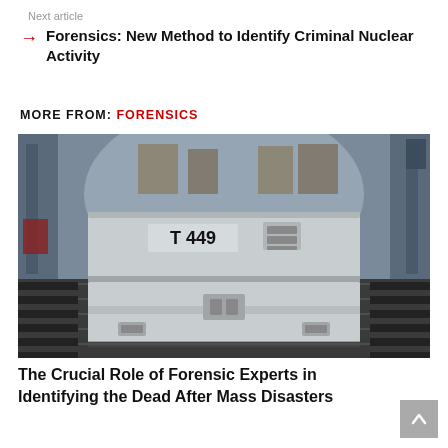Next article
Forensics: New Method to Identify Criminal Nuclear Activity
MORE FROM: FORENSICS
[Figure (photo): A white metal equipment case labeled 'T 449' with latches and clasps, sitting on a ridged metal floor inside what appears to be a military transport aircraft cargo hold.]
The Crucial Role of Forensic Experts in Identifying the Dead After Mass Disasters